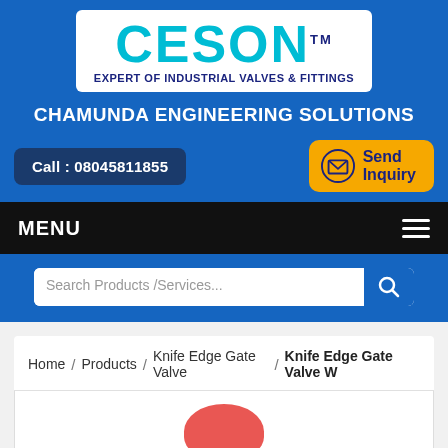[Figure (logo): CESON logo with text 'EXPERT OF INDUSTRIAL VALVES & FITTINGS' on white background with TM mark]
CHAMUNDA ENGINEERING SOLUTIONS
Call : 08045811855
Send Inquiry
MENU
Search Products /Services...
Home / Products / Knife Edge Gate Valve / Knife Edge Gate Valve W
[Figure (photo): Partial product image showing red valve component]